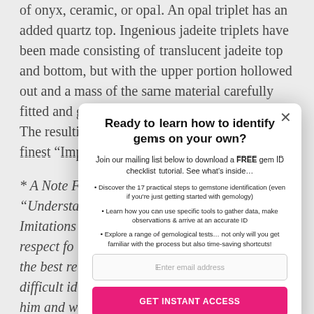of onyx, ceramic, or opal. An opal triplet has an added quartz top. Ingenious jadeite triplets have been made consisting of translucent jadeite top and bottom, but with the upper portion hollowed out and a mass of the same material carefully fitted and glued in with a green-dyed cement. The resulting stone sometimes resembles the finest “Imperial” jade.
* A Note From “Understa… Imitations… of respect fo… [gemstones] is the best re… ith a difficult id… ter from him and w… y to help me. This w… ver, you should be… tic” and “homocre… dustry
[Figure (other): Modal popup dialog: 'Ready to learn how to identify gems on your own?' with mailing list signup, bullet points about gemstone identification steps, email input field, and GET INSTANT ACCESS button.]